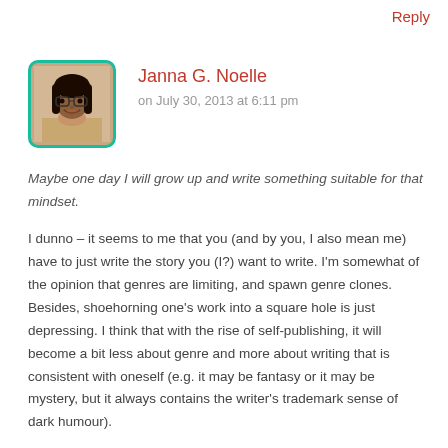Reply
[Figure (photo): Profile photo of a woman with glasses and braided hair, smiling, with a teal/cyan rounded square border]
Janna G. Noelle
on July 30, 2013 at 6:11 pm
Maybe one day I will grow up and write something suitable for that mindset.
I dunno – it seems to me that you (and by you, I also mean me) have to just write the story you (I?) want to write. I'm somewhat of the opinion that genres are limiting, and spawn genre clones. Besides, shoehorning one's work into a square hole is just depressing. I think that with the rise of self-publishing, it will become a bit less about genre and more about writing that is consistent with oneself (e.g. it may be fantasy or it may be mystery, but it always contains the writer's trademark sense of dark humour).
In terms of putting some kind of label on it, though, I do like Anna